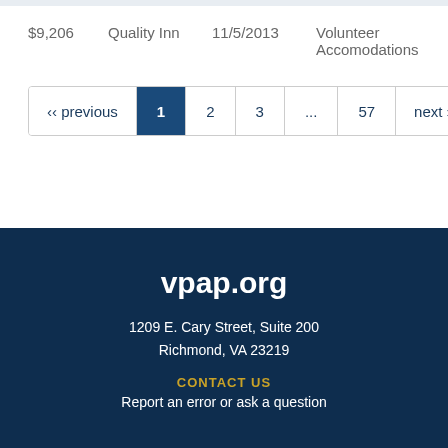$9,206    Quality Inn    11/5/2013    Volunteer Accomodations
‹‹ previous  1  2  3  ...  57  next ››
vpap.org
1209 E. Cary Street, Suite 200
Richmond, VA 23219
CONTACT US
Report an error or ask a question